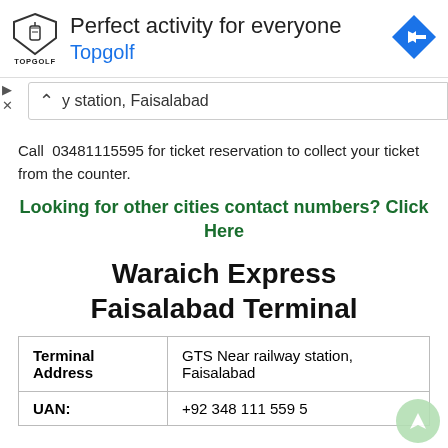[Figure (infographic): Topgolf advertisement banner with shield logo, 'Perfect activity for everyone' headline, 'Topgolf' subtitle in blue, and a blue diamond navigation icon on the right.]
y station, Faisalabad
Call  03481115595 for ticket reservation to collect your ticket from the counter.
Looking for other cities contact numbers? Click Here
Waraich Express Faisalabad Terminal
| Terminal Address |  |
| --- | --- |
| Terminal
Address | GTS Near railway station, Faisalabad |
| UAN: | +92 348 111 559 5 |